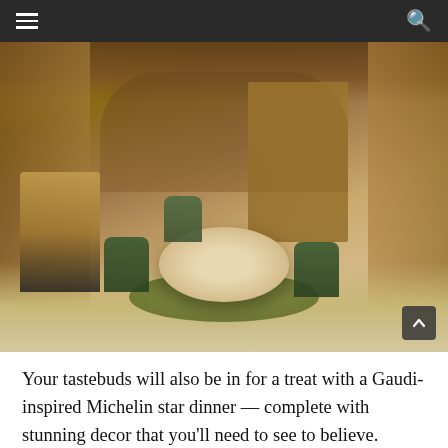Navigation bar with hamburger menu and search icon
[Figure (photo): Interior of a Gaudi-inspired ornate dining room with arched ceilings, decorative tile fireplace, round table with cream tablecloth set for dinner, green velvet chairs on a dark round rug, wooden cabinetry and nature-themed wall murals.]
Your tastebuds will also be in for a treat with a Gaudi-inspired Michelin star dinner — complete with stunning decor that you'll need to see to believe. Afterwards, enjoy a nightcap at the splendid smoking room, before retiring to the “most private of spaces”:  the Vincens’ master bedroom.